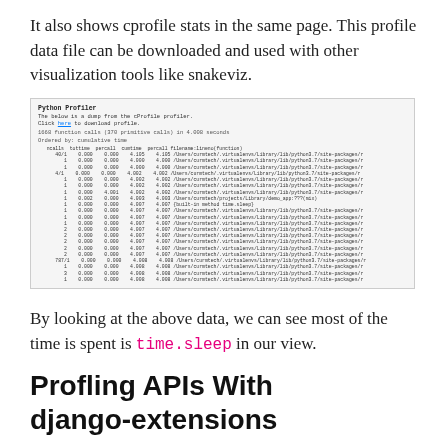It also shows cprofile stats in the same page. This profile data file can be downloaded and used with other visualization tools like snakeviz.
[Figure (screenshot): Python Profiler panel showing cprofile stats with columns for ncalls, tottime, percall, cumtime, percall, filename:lineno(function). The data shows calls to time.sleep and various virtualenv library paths. The heading reads 'Python Profiler' with a link to download the profile.]
By looking at the above data, we can see most of the time is spent is time.sleep in our view.
Profling APIs With django-extensions